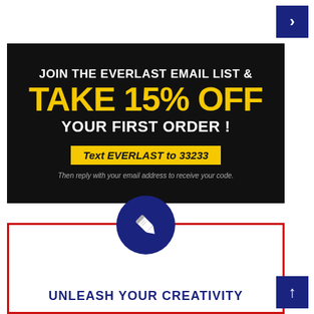[Figure (infographic): Navigation arrow button pointing right, dark navy blue background]
[Figure (infographic): Everlast promotional email signup banner on black background. Text: JOIN THE EVERLAST EMAIL LIST & TAKE 15% OFF YOUR FIRST ORDER! Text EVERLAST to 33233. Then reply with your email address to receive your code.]
[Figure (infographic): Unleash Your Creativity section with red border, navy blue circle with pencil icon, and bold navy text UNLEASH YOUR CREATIVITY]
[Figure (infographic): Navigation arrow button pointing up, dark navy blue background]